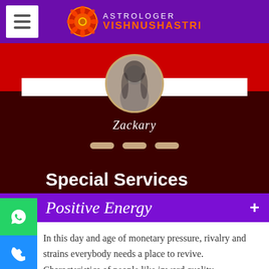ASTROLOGER VISHNUSHASTRI
[Figure (photo): Blurred circular profile photo of a person with long hair]
Zackary
Special Services
Positive Energy
In this day and age of monetary pressure, rivalry and strains everybody needs a place to revive. Characteristics of people like inward quality,